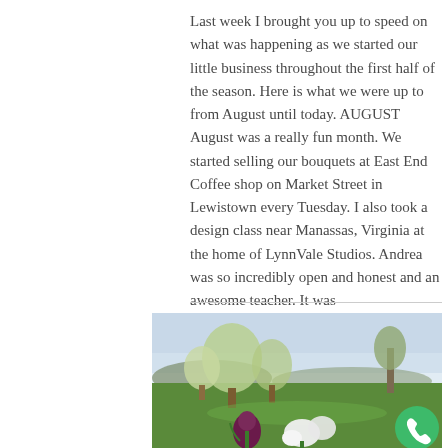Last week I brought you up to speed on what was happening as we started our little business throughout the first half of the season. Here is what we were up to from August until today. AUGUST August was a really fun month. We started selling our bouquets at East End Coffee shop on Market Street in Lewistown every Tuesday. I also took a design class near Manassas, Virginia at the home of LynnVale Studios. Andrea was so incredibly open and honest and an awesome teacher. It was
[Figure (photo): Outdoor landscape photograph showing flowering trees, green grass, mountains in the background, with purple and white flowers (tulips and daffodils) in the foreground. A green circular phone/call button is overlaid in the bottom right.]